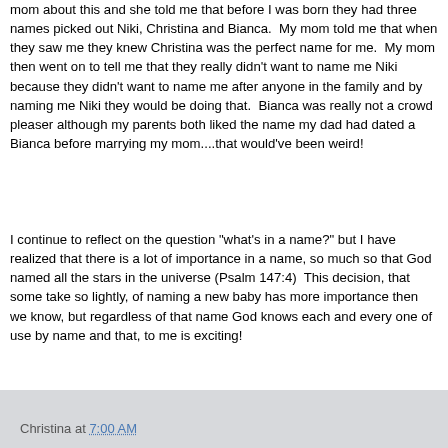mom about this and she told me that before I was born they had three names picked out Niki, Christina and Bianca.  My mom told me that when they saw me they knew Christina was the perfect name for me.  My mom then went on to tell me that they really didn't want to name me Niki because they didn't want to name me after anyone in the family and by naming me Niki they would be doing that.  Bianca was really not a crowd pleaser although my parents both liked the name my dad had dated a Bianca before marrying my mom....that would've been weird!
I continue to reflect on the question "what's in a name?" but I have realized that there is a lot of importance in a name, so much so that God named all the stars in the universe (Psalm 147:4)  This decision, that some take so lightly, of naming a new baby has more importance then we know, but regardless of that name God knows each and every one of use by name and that, to me is exciting!
Christina at 7:00 AM